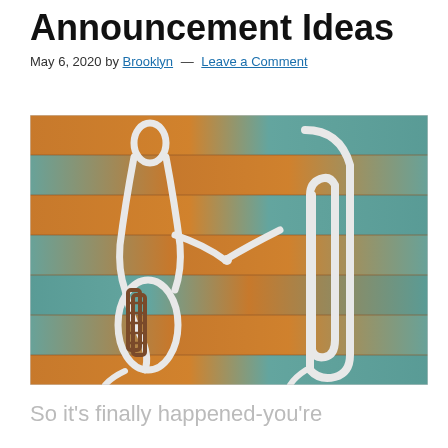Announcement Ideas
May 6, 2020 by Brooklyn — Leave a Comment
[Figure (photo): Two paper clips arranged on a teal and orange painted wood surface to look like two people shaking hands, with a smaller brown chain-link paper clip between them.]
So it's finally happened-you're